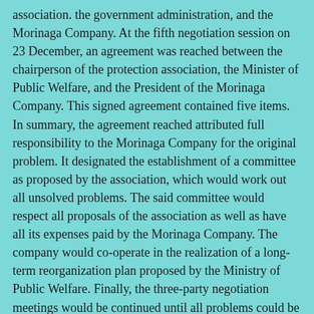association. the government administration, and the Morinaga Company. At the fifth negotiation session on 23 December, an agreement was reached between the chairperson of the protection association, the Minister of Public Welfare, and the President of the Morinaga Company. This signed agreement contained five items. In summary, the agreement reached attributed full responsibility to the Morinaga Company for the original problem. It designated the establishment of a committee as proposed by the association, which would work out all unsolved problems. The said committee would respect all proposals of the association as well as have all its expenses paid by the Morinaga Company. The company would co-operate in the realization of a long-term reorganization plan proposed by the Ministry of Public Welfare. Finally, the three-party negotiation meetings would be continued until all problems could be completely solved.
In April 1974, the sixth negotiation meeting was held, followed by a seventh meeting for the establishment of the Hikari Foundation as an organ designed to help relieve the Morinaga milk-poisoning victims while various other specific issues in relation to the Foundation were being discussed and decided. The three-party negotiations between the protection association, the government, and the Morinaga Company continued alongside the litigation and the boycott. Then, on 28 November 1973, the Tokushima District Court also sentenced the production section chief of the Morinaga Company to be proven by law. The lawsuits were not yet over.